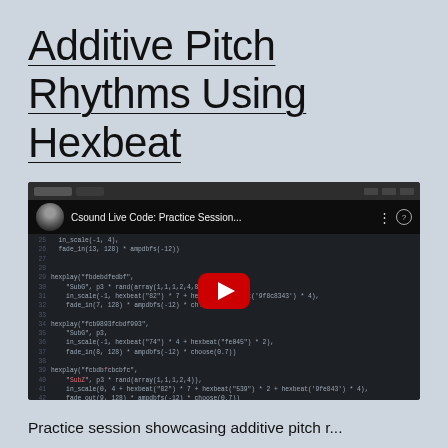Additive Pitch Rhythms Using Hexbeat
[Figure (screenshot): YouTube video thumbnail showing a Csound live code editor with code lines 25-46, title 'Csound Live Code: Practice Session...', a red YouTube play button overlay, and a small avatar in the top bar.]
Practice session showcasing additive pitch r...